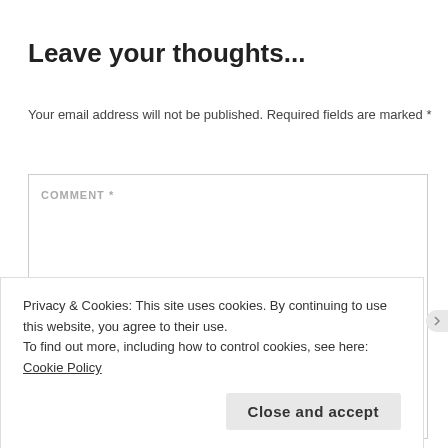Leave your thoughts...
Your email address will not be published. Required fields are marked *
COMMENT *
Privacy & Cookies: This site uses cookies. By continuing to use this website, you agree to their use.
To find out more, including how to control cookies, see here: Cookie Policy
Close and accept